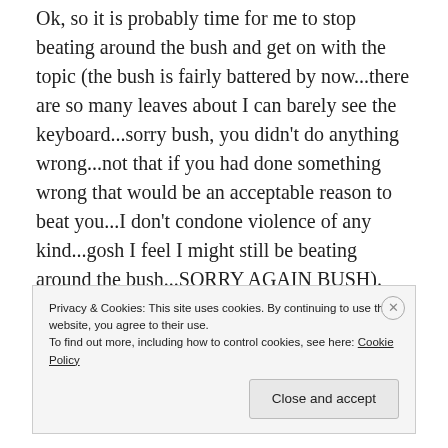Ok, so it is probably time for me to stop beating around the bush and get on with the topic (the bush is fairly battered by now...there are so many leaves about I can barely see the keyboard...sorry bush, you didn't do anything wrong...not that if you had done something wrong that would be an acceptable reason to beat you...I don't condone violence of any kind...gosh I feel I might still be beating around the bush...SORRY AGAIN BUSH).
The topic around which my “secret” revolves? Gender, though more specifically, my personal gender identity
Privacy & Cookies: This site uses cookies. By continuing to use this website, you agree to their use.
To find out more, including how to control cookies, see here: Cookie Policy

Close and accept